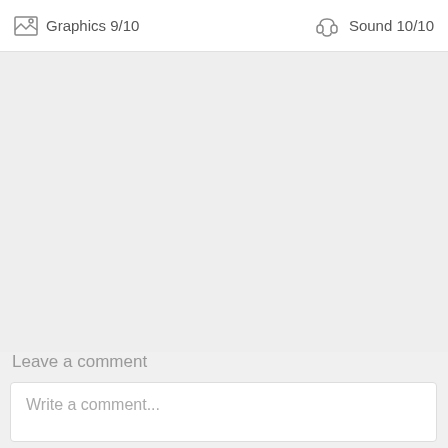Graphics 9/10   Sound 10/10
Leave a comment
Write a comment...